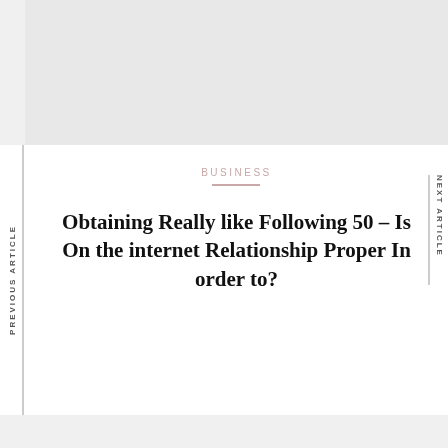PREVIOUS ARTICLE
NEXT ARTICLE
BUSINESS
Obtaining Really like Following 50 – Is On the internet Relationship Proper In order to?